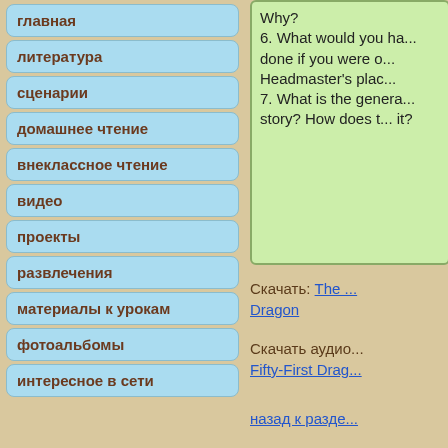главная
литература
сценарии
домашнее чтение
внеклассное чтение
видео
проекты
развлечения
материалы к урокам
фотоальбомы
интересное в сети
Why?
6. What would you have done if you were on the Headmaster's place?
7. What is the general message of the story? How does the title relate to it?
Скачать: The ... Dragon
Скачать аудио: Fifty-First Drag...
назад к разде...